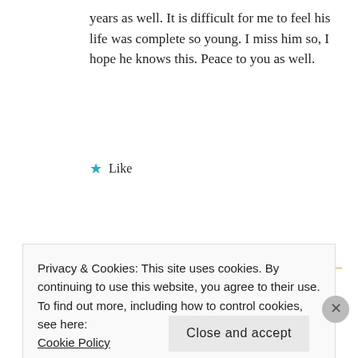years as well. It is difficult for me to feel his life was complete so young. I miss him so, I hope he knows this. Peace to you as well.
★ Like
REPLY
DALE MARIE
June 24, 2017 at 11:55 am
Privacy & Cookies: This site uses cookies. By continuing to use this website, you agree to their use.
To find out more, including how to control cookies, see here:
Cookie Policy
Close and accept